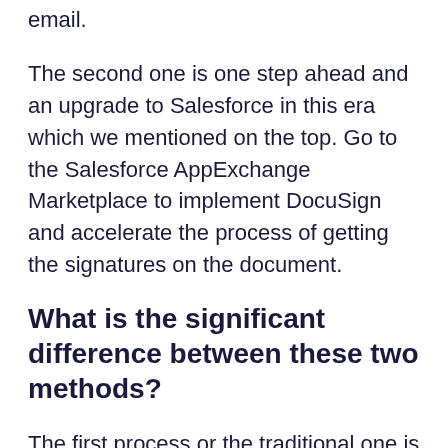email.
The second one is one step ahead and an upgrade to Salesforce in this era which we mentioned on the top. Go to the Salesforce AppExchange Marketplace to implement DocuSign and accelerate the process of getting the signatures on the document.
What is the significant difference between these two methods?
The first process or the traditional one is time-consuming; it might take as long as a